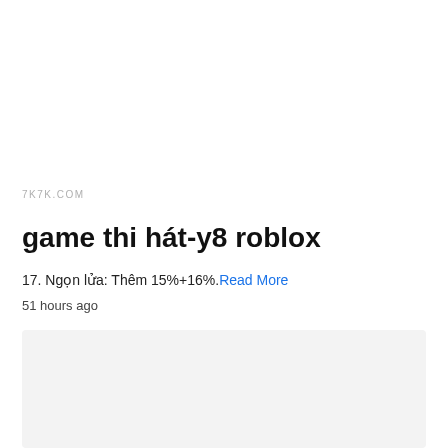7K7K.COM
game thi hát-y8 roblox
17. Ngọn lửa: Thêm 15%+16%.Read More
51 hours ago
[Figure (other): Gray placeholder box]